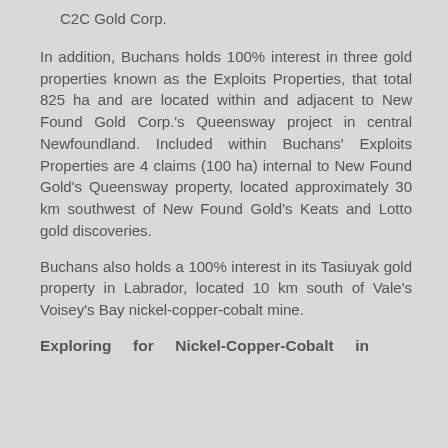C2C Gold Corp.
In addition, Buchans holds 100% interest in three gold properties known as the Exploits Properties, that total 825 ha and are located within and adjacent to New Found Gold Corp.'s Queensway project in central Newfoundland. Included within Buchans' Exploits Properties are 4 claims (100 ha) internal to New Found Gold's Queensway property, located approximately 30 km southwest of New Found Gold's Keats and Lotto gold discoveries.
Buchans also holds a 100% interest in its Tasiuyak gold property in Labrador, located 10 km south of Vale's Voisey's Bay nickel-copper-cobalt mine.
Exploring for Nickel-Copper-Cobalt in